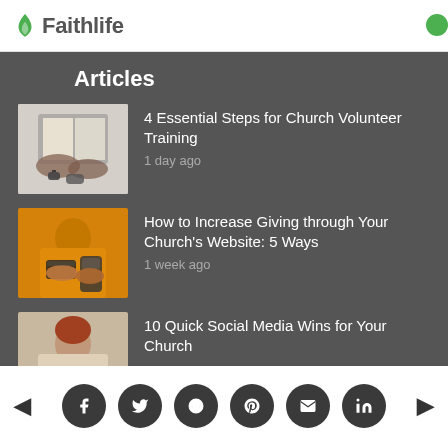Faithlife
Articles
4 Essential Steps for Church Volunteer Training
1 day ago
How to Increase Giving through Your Church's Website: 5 Ways
1 week ago
10 Quick Social Media Wins for Your Church
Social share buttons: Facebook, Twitter, Reddit, Pinterest, Email, LinkedIn